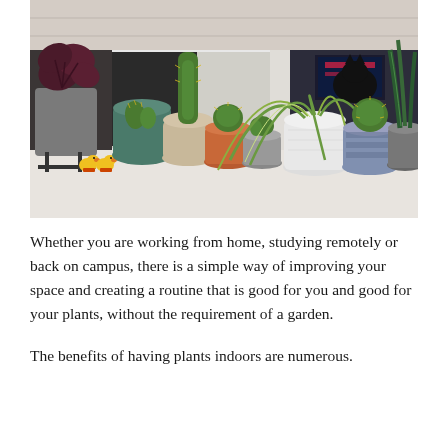[Figure (photo): A windowsill with numerous potted plants including cacti, a spider plant, and a dark-leafed plant (likely an Oxalis). Two small rubber duck figurines are visible on the left. A roman blind is partially raised in the background. Various pots in grey, teal, terracotta, and patterned styles.]
Whether you are working from home, studying remotely or back on campus, there is a simple way of improving your space and creating a routine that is good for you and good for your plants, without the requirement of a garden.
The benefits of having plants indoors are numerous.